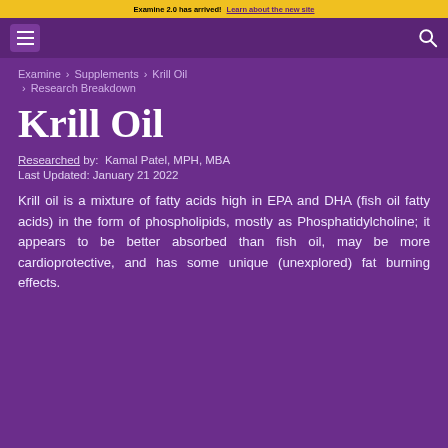Examine 2.0 has arrived! Learn about the new site
Navigation bar with menu and search icons
Examine > Supplements > Krill Oil > Research Breakdown
Krill Oil
Researched by: Kamal Patel, MPH, MBA
Last Updated: January 21 2022
Krill oil is a mixture of fatty acids high in EPA and DHA (fish oil fatty acids) in the form of phospholipids, mostly as Phosphatidylcholine; it appears to be better absorbed than fish oil, may be more cardioprotective, and has some unique (unexplored) fat burning effects.